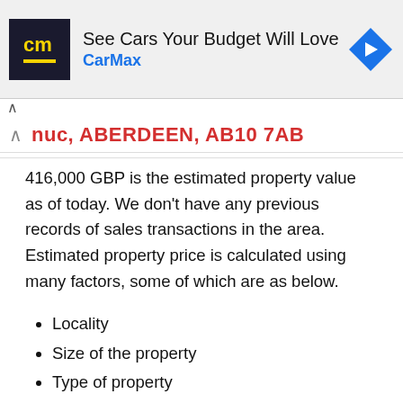[Figure (other): CarMax advertisement banner with logo, text 'See Cars Your Budget Will Love', brand name 'CarMax', and a blue navigation arrow icon]
nuc, ABERDEEN, AB10 7AB
416,000 GBP is the estimated property value as of today. We don't have any previous records of sales transactions in the area. Estimated property price is calculated using many factors, some of which are as below.
Locality
Size of the property
Type of property
Facilities in and around the property
Distance from road
Parking